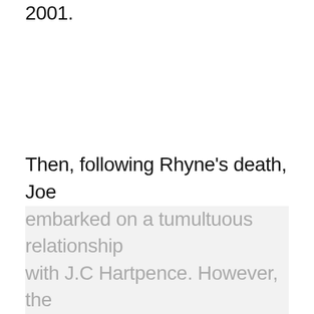2001.
Then, following Rhyne's death, Joe embarked on a tumultuous relationship with J.C Hartpence. However, the